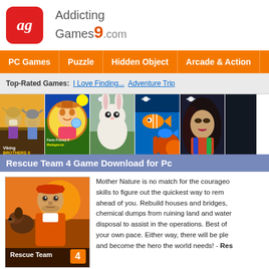[Figure (logo): AddictingGames9.com logo with red rounded square icon containing AG in italic white text]
PC Games | Puzzle | Hidden Object | Arcade & Action
Top-Rated Games: I Love Finding... Adventure Trip
[Figure (photo): Row of game thumbnails: Viking Brothers II, Farm Frenzy 3 Madagascar, white rabbit, tropical fish, woman portrait, dark image]
Rescue Team 4 Game Download for Pc
[Figure (illustration): Rescue Team 4 game cover art showing a man with a dog, orange/red tones, with 'Rescue Team 4' text at bottom]
Mother Nature is no match for the courageous skills to figure out the quickest way to rem ahead of you. Rebuild houses and bridges, chemical dumps from ruining land and water disposal to assist in the operations. Best of your own pace. Either way, there will be ple and become the hero the world needs! - Res